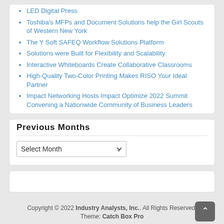LED Digital Press
Toshiba's MFPs and Document Solutions help the Girl Scouts of Western New York
The Y Soft SAFEQ Workflow Solutions Platform
Solutions were Built for Flexibility and Scalability
Interactive Whiteboards Create Collaborative Classrooms
High-Quality Two-Color Printing Makes RISO Your Ideal Partner
Impact Networking Hosts Impact Optimize 2022 Summit Convening a Nationwide Community of Business Leaders
Previous Months
Select Month
Copyright © 2022 Industry Analysts, Inc.. All Rights Reserved. Theme: Catch Box Pro